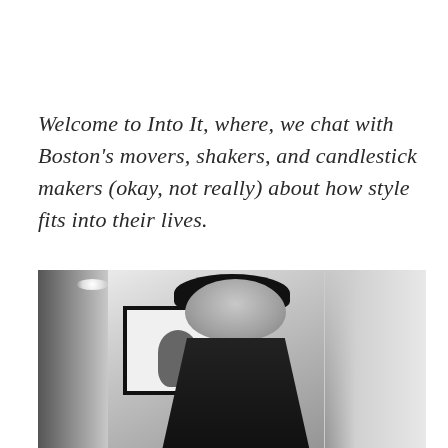Welcome to Into It, where, we chat with Boston's movers, shakers, and candlestick makers (okay, not really) about how style fits into their lives.
[Figure (photo): Black and white photograph of a smiling woman with dark hair, wearing a black outfit, standing in front of a framed artwork on a white wall. She appears to be in an indoor gallery or studio setting.]